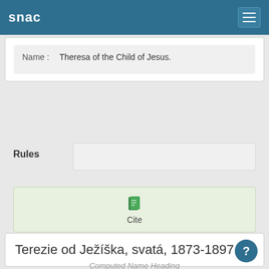snac
Name : Theresa of the Child of Jesus.
Rules
Cite
Terezie od Ježíška, svatá, 1873-1897
Computed Name Heading